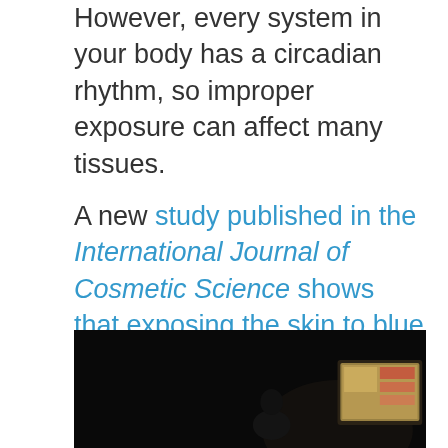However, every system in your body has a circadian rhythm, so improper exposure can affect many tissues.
A new study published in the International Journal of Cosmetic Science shows that exposing the skin to blue light disrupts the local circadian rhythm. But are the results applicable to real life situations? Let's find out.
[Figure (photo): A dark photo showing a person sitting in a dark room illuminated by the blue light from a laptop screen, visible in the lower right portion of the image.]